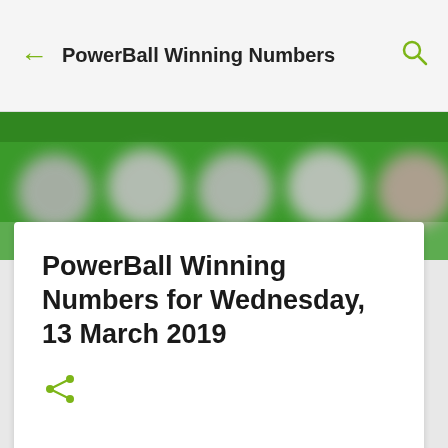PowerBall Winning Numbers
[Figure (photo): Blurred banner image showing lottery balls on a green background]
PowerBall Winning Numbers for Wednesday, 13 March 2019
[Figure (other): Share icon (less-than style share symbol in green)]